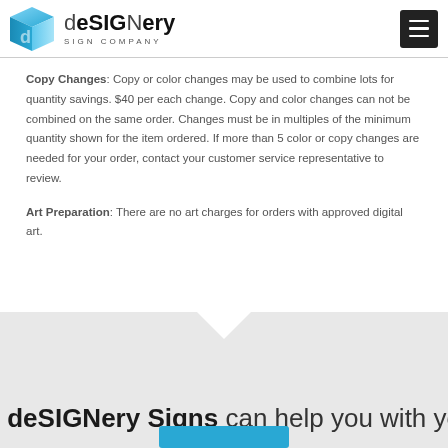[Figure (logo): deSIGNery Sign Company logo with blue cube icon and company name]
Copy Changes: Copy or color changes may be used to combine lots for quantity savings. $40 per each change. Copy and color changes can not be combined on the same order. Changes must be in multiples of the minimum quantity shown for the item ordered. If more than 5 color or copy changes are needed for your order, contact your customer service representative to review.
Art Preparation: There are no art charges for orders with approved digital art.
deSIGNery Signs can help you with your